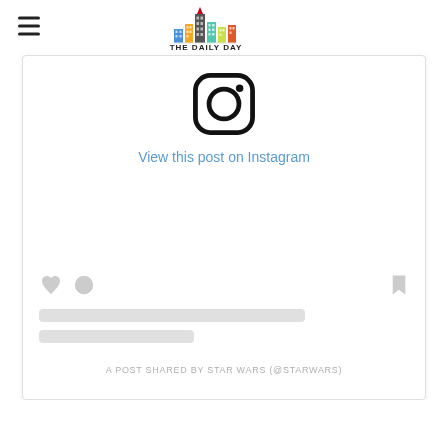THE DAILY DAY
[Figure (screenshot): Instagram post embed showing Instagram logo icon, 'View this post on Instagram' link in blue, placeholder loading bars, action icons (heart, person, bookmark), and attribution text 'A POST SHARED BY STAR WARS (@STARWARS)']
View this post on Instagram
A POST SHARED BY STAR WARS (@STARWARS)